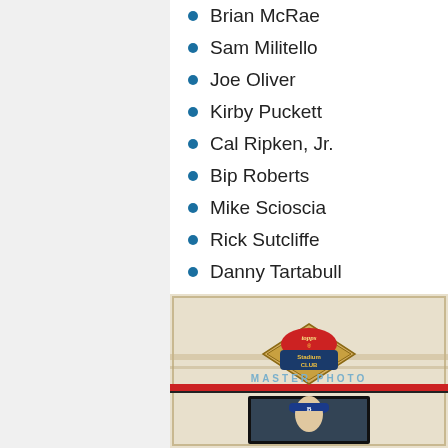Brian McRae
Sam Militello
Joe Oliver
Kirby Puckett
Cal Ripken, Jr.
Bip Roberts
Mike Scioscia
Rick Sutcliffe
Danny Tartabull
Tim Wakefield
Series Two
[Figure (photo): Topps Stadium Club Master Photo baseball card showing a player wearing a blue cap with B logo, card has cream/tan background with diamond design elements and red stripe]